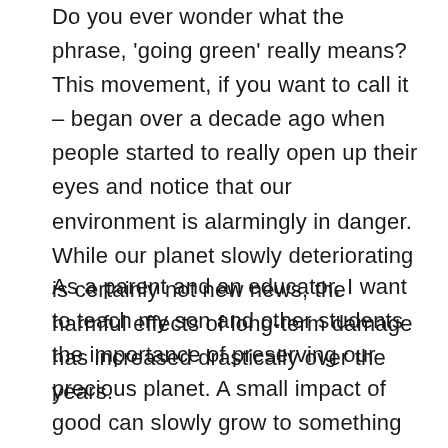Do you ever wonder what the phrase, 'going green' really means? This movement, if you want to call it – began over a decade ago when people started to really open up their eyes and notice that our environment is alarmingly in danger. While our planet slowly deteriorating is certainly not new news, the harmful effects of long-term damage has increased drastically over the years.
As a parent and an educator, I want to teach my son and other students the importance of preserving our precious planet. A small impact of good can slowly grow to something bigger and better: one child can make a difference and one adult can help them achieve their goals. And while you're reading this, let's break it down to the importance of teaching our children to being "green" and allow them to make a